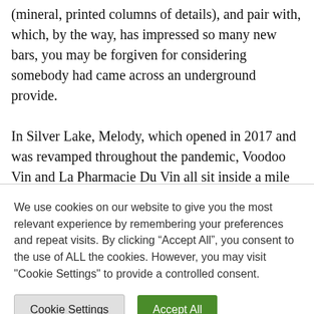(mineral, printed columns of details), and pair with, which, by the way, has impressed so many new bars, you may be forgiven for considering somebody had came across an underground provide.

In Silver Lake, Melody, which opened in 2017 and was revamped throughout the pandemic, Voodoo Vin and La Pharmacie Du Vin all sit inside a mile of one another. The neighborhood caters to cocktail connoisseurs, too, with Bolita, a Cuban-inspired cocktail bar that opened
We use cookies on our website to give you the most relevant experience by remembering your preferences and repeat visits. By clicking “Accept All”, you consent to the use of ALL the cookies. However, you may visit "Cookie Settings" to provide a controlled consent.